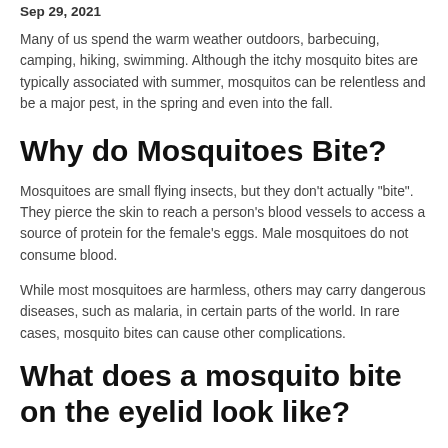Sep 29, 2021
Many of us spend the warm weather outdoors, barbecuing, camping, hiking, swimming. Although the itchy mosquito bites are typically associated with summer, mosquitos can be relentless and be a major pest, in the spring and even into the fall.
Why do Mosquitoes Bite?
Mosquitoes are small flying insects, but they don't actually "bite". They pierce the skin to reach a person's blood vessels to access a source of protein for the female's eggs. Male mosquitoes do not consume blood.
While most mosquitoes are harmless, others may carry dangerous diseases, such as malaria, in certain parts of the world. In rare cases, mosquito bites can cause other complications.
What does a mosquito bite on the eyelid look like?